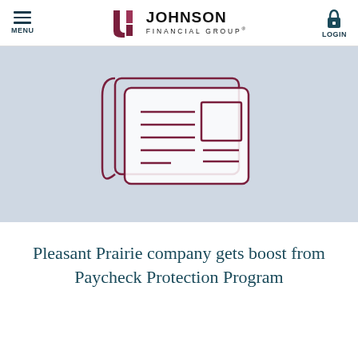[Figure (logo): Johnson Financial Group logo with menu and login buttons in header navigation bar]
[Figure (illustration): Newspaper/news article icon in dark red outline on a light blue-grey tiled background with Johnson Financial Group watermark tiles]
Pleasant Prairie company gets boost from Paycheck Protection Program